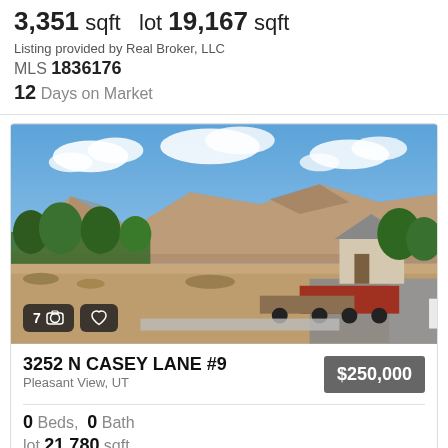3,351 sqft  lot 19,167 sqft
Listing provided by Real Broker, LLC
MLS 1836176
12 Days on Market
[Figure (photo): Outdoor photo of a vacant lot with mountains in the background, blue sky with clouds, trees, nearby houses, and a flatbed truck on the street.]
3252 N CASEY LANE #9
Pleasant View, UT
$250,000
0 Beds,  0 Bath
lot 21,780 sqft